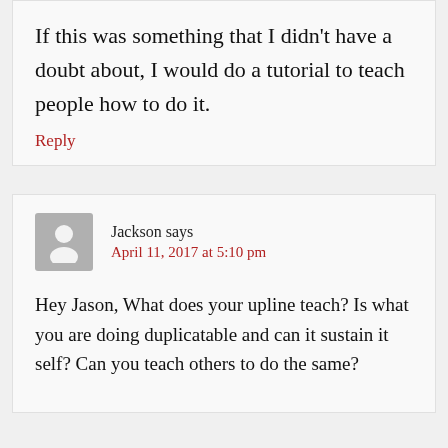If this was something that I didn't have a doubt about, I would do a tutorial to teach people how to do it.
Reply
Jackson says
April 11, 2017 at 5:10 pm
Hey Jason, What does your upline teach? Is what you are doing duplicatable and can it sustain it self? Can you teach others to do the same?